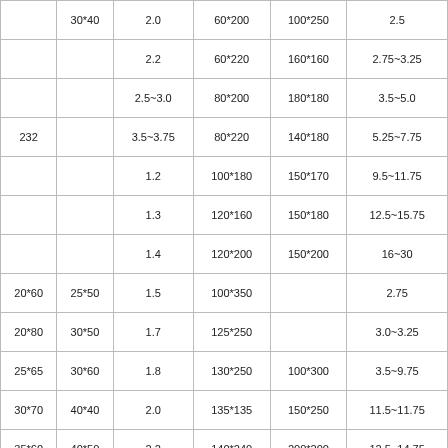|  | 30*40 | 2.0 | 60*200 | 100*250 | 2.5 |
|  |  | 2.2 | 60*220 | 160*160 | 2.75~3.25 |
|  |  | 2.5~3.0 | 80*200 | 180*180 | 3.5~5.0 |
| 232 |  | 3.5~3.75 | 80*220 | 140*180 | 5.25~7.75 |
|  |  | 1.2 | 100*180 | 150*170 | 9.5~11.75 |
|  |  | 1.3 | 120*160 | 150*180 | 12.5~15.75 |
|  |  | 1.4 | 120*200 | 150*200 | 16~30 |
| 20*60 | 25*50 | 1.5 | 100*350 |  | 2.75 |
| 20*80 | 30*50 | 1.7 | 125*250 |  | 3.0~3.25 |
| 25*65 | 30*60 | 1.8 | 130*250 | 100*300 | 3.5~9.75 |
| 30*70 | 40*40 | 2.0 | 135*135 | 150*250 | 11.5~11.75 |
| 35*60 | 40*50 | 2.2 | 140*240 | 200*200 | 12.5~14.75 |
| 30*70 | 40*60 | 2.5~4.0 | 150*200 | 200*250 | 15.5~15.75 |